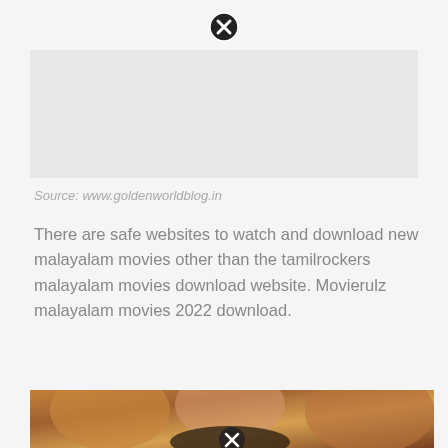[Figure (other): Close/X button icon at top center of page]
[Figure (other): Gray advertisement placeholder area]
Source: www.goldenworldblog.in
There are safe websites to watch and download new malayalam movies other than the tamilrockers malayalam movies download website. Movierulz malayalam movies 2022 download.
[Figure (photo): Movie poster photo showing three actors with exaggerated wide-eyed expressions and a rat/mouse in the foreground, with a close button overlay at bottom center]